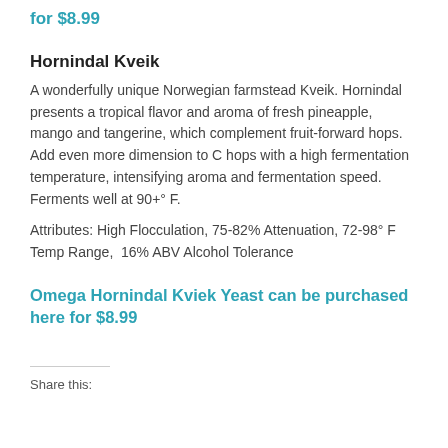for $8.99
Hornindal Kveik
A wonderfully unique Norwegian farmstead Kveik. Hornindal presents a tropical flavor and aroma of fresh pineapple, mango and tangerine, which complement fruit-forward hops. Add even more dimension to C hops with a high fermentation temperature, intensifying aroma and fermentation speed. Ferments well at 90+° F.
Attributes: High Flocculation, 75-82% Attenuation, 72-98° F Temp Range,  16% ABV Alcohol Tolerance
Omega Hornindal Kviek Yeast can be purchased here for $8.99
Share this: